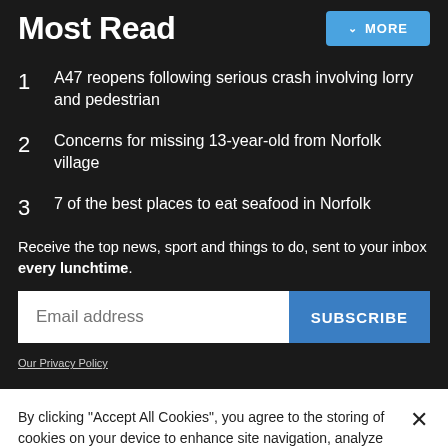Most Read
A47 reopens following serious crash involving lorry and pedestrian
Concerns for missing 13-year-old from Norfolk village
7 of the best places to eat seafood in Norfolk
Receive the top news, sport and things to do, sent to your inbox every lunchtime.
Email address
SUBSCRIBE
Our Privacy Policy
By clicking "Accept All Cookies", you agree to the storing of cookies on your device to enhance site navigation, analyze site usage, and assist in our marketing efforts.